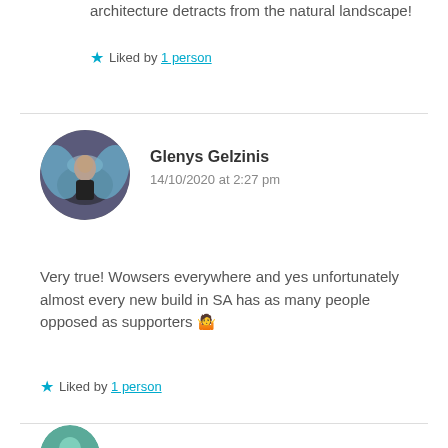architecture detracts from the natural landscape!
★ Liked by 1 person
Glenys Gelzinis
14/10/2020 at 2:27 pm
Very true! Wowsers everywhere and yes unfortunately almost every new build in SA has as many people opposed as supporters 🤷
★ Liked by 1 person